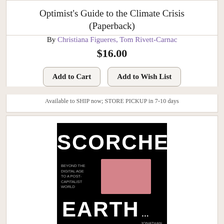Optimist's Guide to the Climate Crisis (Paperback)
By Christiana Figueres, Tom Rivett-Carnac
$16.00
Add to Cart   Add to Wish List
Available to SHIP now; STORE PICKUP in 7-10 days
[Figure (photo): Book cover of 'Scorched Earth: Beyond the Digital Age to a Post-Capitalist World' — black background with bold white text 'SCORCHED' at top, a pink/salmon rectangular graphic in the middle, and 'EARTH' in bold white text at bottom]
Scorched Earth: Beyond the Digital Age to a Post-Capitalist World (Hardcover)
By Jonathan Crary
$16.95